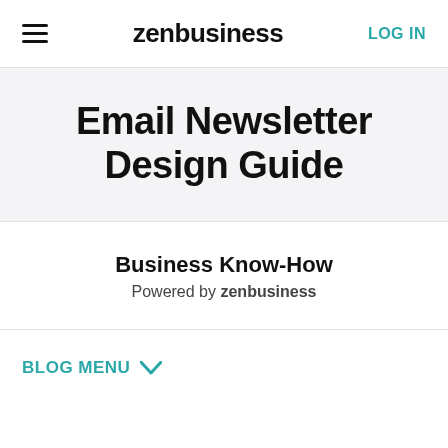zenbusiness | LOG IN
Email Newsletter Design Guide
Business Know-How
Powered by zenbusiness
BLOG MENU